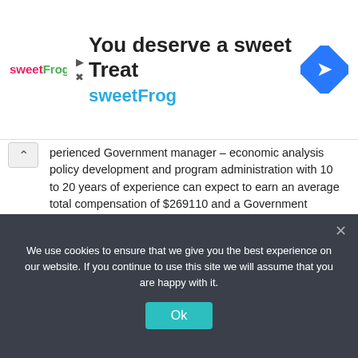[Figure (other): sweetFrog advertisement banner with logo, headline 'You deserve a sweet Treat', subheadline 'sweetFrog', and a blue diamond navigation icon]
perienced Government manager – economic analysis policy development and program administration with 10 to 20 years of experience can expect to earn an average total compensation of $269110 and a Government manager – economic analysis policy development and program administration with late-career experience can expect to earn an average total compensation of $208788.
Obviously, these averages do vary between sectors so should be used purely as an indicative guide. Additionally, certain geographic anomalies occur in terms of fluctuations above these averages:
Saskatoon + 30%
We use cookies to ensure that we give you the best experience on our website. If you continue to use this site we will assume that you are happy with it.